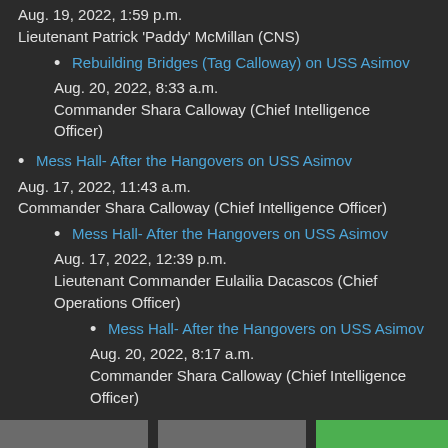Aug. 19, 2022, 1:59 p.m.
Lieutenant Patrick 'Paddy' McMillan (CNS)
Rebuilding Bridges (Tag Calloway) on USS Asimov
Aug. 20, 2022, 8:33 a.m.
Commander Shara Calloway (Chief Intelligence Officer)
Mess Hall- After the Hangovers on USS Asimov
Aug. 17, 2022, 11:43 a.m.
Commander Shara Calloway (Chief Intelligence Officer)
Mess Hall- After the Hangovers on USS Asimov
Aug. 17, 2022, 12:39 p.m.
Lieutenant Commander Eulailia Dacascos (Chief Operations Officer)
Mess Hall- After the Hangovers on USS Asimov
Aug. 20, 2022, 8:17 a.m.
Commander Shara Calloway (Chief Intelligence Officer)